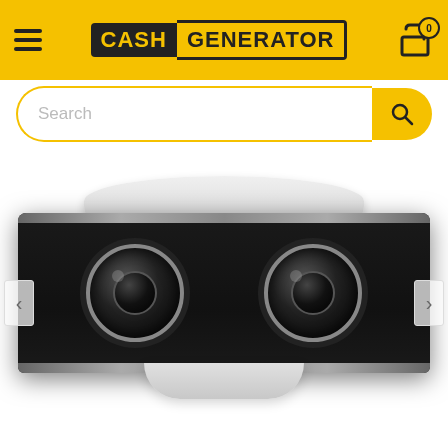[Figure (logo): Cash Generator retail store logo with hamburger menu and cart icon on yellow header bar]
[Figure (screenshot): Search bar with yellow rounded button and magnifying glass icon]
[Figure (photo): PlayStation 4 Camera (PS4 camera) product photo showing front view of black wide-bar camera with two lenses and white PS5 console partially visible behind it, on white background]